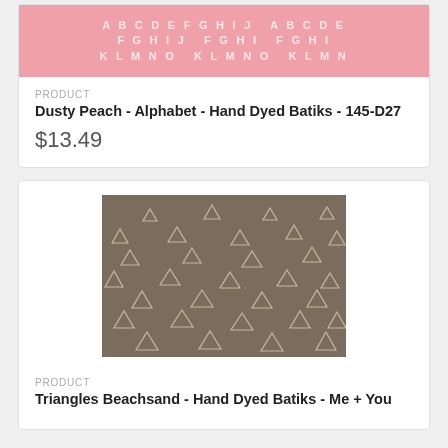[Figure (photo): Pink fabric with repeating alphabet letters pattern, partially visible at top of page]
PRODUCT
Dusty Peach - Alphabet - Hand Dyed Batiks - 145-D27
$13.49
[Figure (photo): Taupe/beachsand colored fabric with scattered small triangle motifs in a lighter tone]
PRODUCT
Triangles Beachsand - Hand Dyed Batiks - Me + You